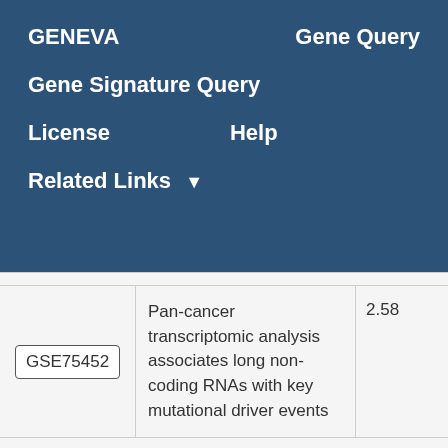GENEVA
Gene Query
Gene Signature Query
License
Help
Related Links
| ID | Description | Score |
| --- | --- | --- |
| GSE75452 | Pan-cancer transcriptomic analysis associates long non-coding RNAs with key mutational driver events | 2.58 |